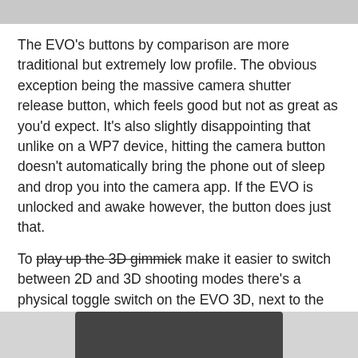[Figure (photo): Top portion of a photo, cropped — shows a gray/blurred image strip at the top of the page]
The EVO's buttons by comparison are more traditional but extremely low profile. The obvious exception being the massive camera shutter release button, which feels good but not as great as you'd expect. It's also slightly disappointing that unlike on a WP7 device, hitting the camera button doesn't automatically bring the phone out of sleep and drop you into the camera app. If the EVO is unlocked and awake however, the button does just that.
To play up the 3D gimmick make it easier to switch between 2D and 3D shooting modes there's a physical toggle switch on the EVO 3D, next to the shutter release button. You only need the toggle for capture, when playing back content the display automatically switches between 2D and 3D modes.
Pulling off the back cover is far easier on the Photon. The EVO 3D makes you pull a little too much and some of the notches don't seem like they want to let go. Unlike some more recent HTC phones, the EVO 3D doesn't include any antennas in the rear cover - everything is baked into the body of the phone.
[Figure (photo): Bottom portion of a photo showing the back of a phone/device, dark colored, partially visible at the bottom of the page]